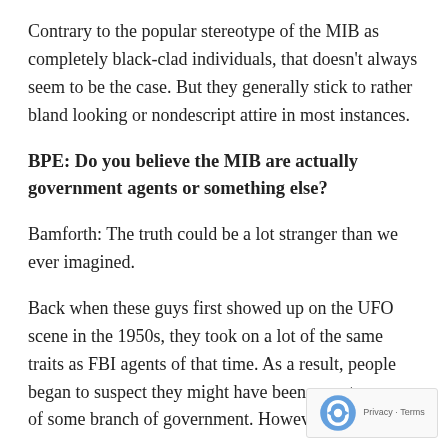Contrary to the popular stereotype of the MIB as completely black-clad individuals, that doesn't always seem to be the case. But they generally stick to rather bland looking or nondescript attire in most instances.
BPE: Do you believe the MIB are actually government agents or something else?
Bamforth: The truth could be a lot stranger than we ever imagined.
Back when these guys first showed up on the UFO scene in the 1950s, they took on a lot of the same traits as FBI agents of that time. As a result, people began to suspect they might have been an extension of some branch of government. However, not ev...